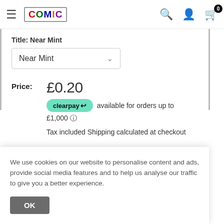COMIC — navigation bar with hamburger menu, logo, search, account, and cart icons
Title: Near Mint
Near Mint (dropdown)
Price: £0.20
clearpay available for orders up to £1,000 ℹ
Tax included Shipping calculated at checkout
We use cookies on our website to personalise content and ads, provide social media features and to help us analyse our traffic to give you a better experience.
OK